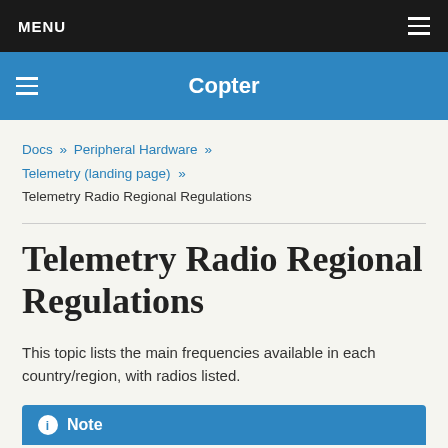MENU
Copter
Docs » Peripheral Hardware » Telemetry (landing page) » Telemetry Radio Regional Regulations
Telemetry Radio Regional Regulations
This topic lists the main frequencies available in each country/region, with radios listed.
Note